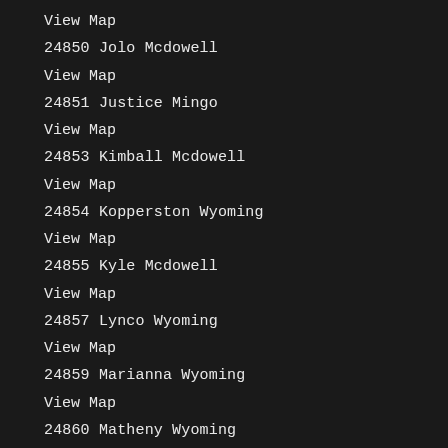View Map
24850 Jolo Mcdowell
View Map
24851 Justice Mingo
View Map
24853 Kimball Mcdowell
View Map
24854 Kopperston Wyoming
View Map
24855 Kyle Mcdowell
View Map
24857 Lynco Wyoming
View Map
24859 Marianna Wyoming
View Map
24860 Matheny Wyoming